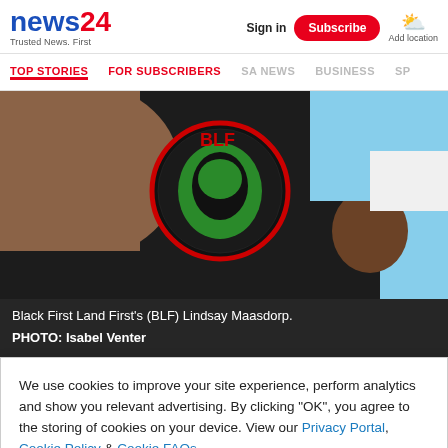news24 Trusted News. First | Sign in | Subscribe | Add location
TOP STORIES | FOR SUBSCRIBERS | SA NEWS | BUSINESS | SP
[Figure (photo): Person wearing a black t-shirt with a green and red BLF (Black First Land First) circular logo, outdoors against a blue sky background. Arm visible in foreground.]
Black First Land First's (BLF) Lindsay Maasdorp.
PHOTO: Isabel Venter
We use cookies to improve your site experience, perform analytics and show you relevant advertising. By clicking "OK", you agree to the storing of cookies on your device. View our Privacy Portal, Cookie Policy & Cookie FAQs